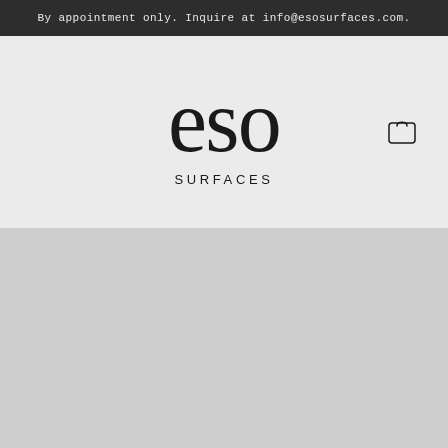By appointment only. Inquire at info@esosurfaces.com.
[Figure (logo): ESO Surfaces logo: large serif 'eso' text above smaller spaced uppercase 'SURFACES' text, with a shopping bag icon in the top right]
[Figure (other): Light gray content area placeholder below the header]